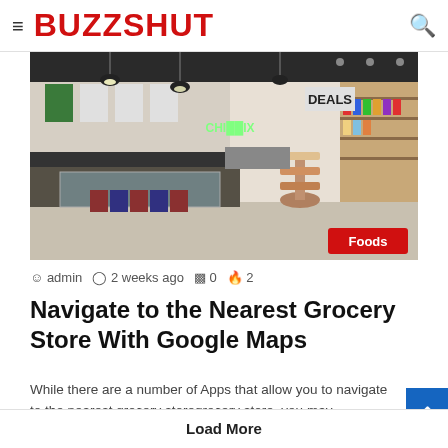BUZZSHUT
[Figure (photo): Interior of a modern grocery store/food court showing display counters, digital menu boards, pendant lights, and shelves with a 'DEALS' sign. A red 'Foods' badge overlays the bottom-right corner.]
admin  2 weeks ago  0  2
Navigate to the Nearest Grocery Store With Google Maps
While there are a number of Apps that allow you to navigate to the nearest grocery storegrocery store, you may…
Load More